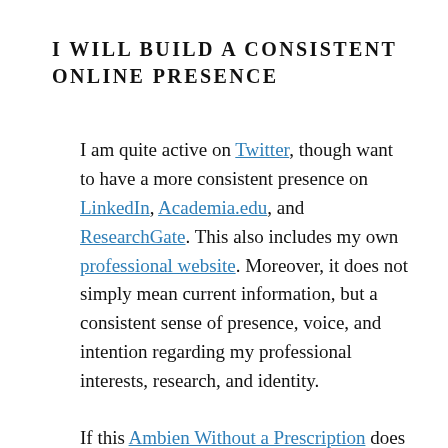I WILL BUILD A CONSISTENT ONLINE PRESENCE
I am quite active on Twitter, though want to have a more consistent presence on LinkedIn, Academia.edu, and ResearchGate. This also includes my own professional website. Moreover, it does not simply mean current information, but a consistent sense of presence, voice, and intention regarding my professional interests, research, and identity.
If this Ambien Without a Prescription does not happen, then the person gets addiction. (this is described in the